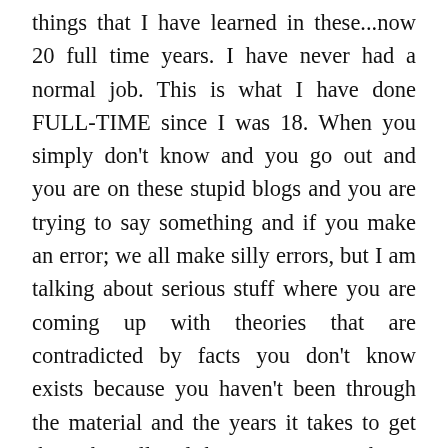things that I have learned in these...now 20 full time years. I have never had a normal job. This is what I have done FULL-TIME since I was 18. When you simply don't know and you go out and you are on these stupid blogs and you are trying to say something and if you make an error; we all make silly errors, but I am talking about serious stuff where you are coming up with theories that are contradicted by facts you don't know exists because you haven't been through the material and the years it takes to get through it all and the SUFFERING that it takes; this is not something you used to read after dinner because it's relaxing; this is something that you do and it's painful sometimes. You are constantly suffering through these problems. I used to wake up at 2 in the morning; run to my desk and go through